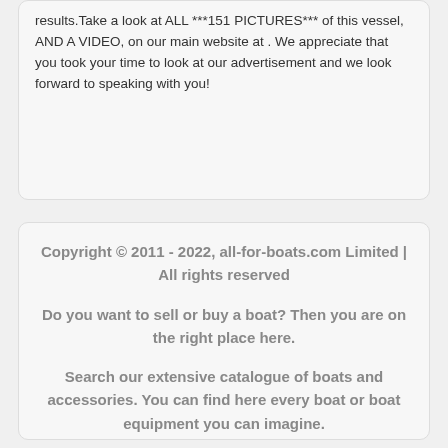results.Take a look at ALL ***151 PICTURES*** of this vessel, AND A VIDEO, on our main website at . We appreciate that you took your time to look at our advertisement and we look forward to speaking with you!
Copyright © 2011 - 2022, all-for-boats.com Limited | All rights reserved
Do you want to sell or buy a boat? Then you are on the right place here.
Search our extensive catalogue of boats and accessories. You can find here every boat or boat equipment you can imagine.